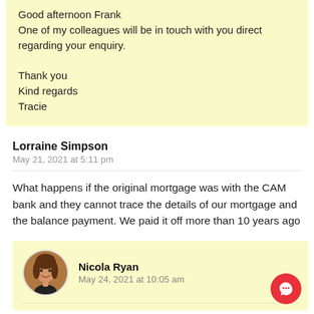Good afternoon Frank
One of my colleagues will be in touch with you direct regarding your enquiry.

Thank you
Kind regards
Tracie
Lorraine Simpson
May 21, 2021 at 5:11 pm
What happens if the original mortgage was with the CAM bank and they cannot trace the details of our mortgage and the balance payment. We paid it off more than 10 years ago
[Figure (photo): Circular profile photo of Nicola Ryan, a woman with curly brown hair, smiling]
Nicola Ryan
May 24, 2021 at 10:05 am